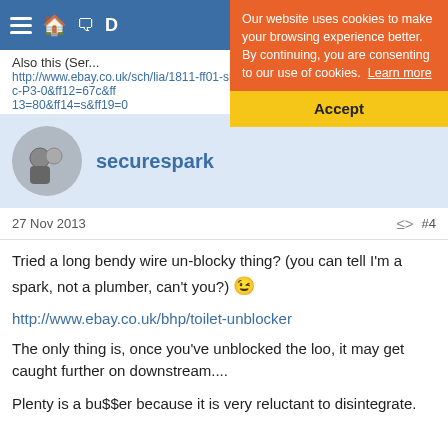Navigation bar with hamburger menu, home icon
Also this (Ser...
http://www.ebay.co.uk/sch/lia/1811-ff01-slc-P3-0&ff12=67c&ff13=80&ff14=s&ff19=0
[Figure (screenshot): Cookie consent banner: 'Our website uses cookies to make your browsing experience better. By continuing, you are consenting to our use of cookies. Learn more' with an Accept button on yellow background]
securespark
27 Nov 2013  #4
Tried a long bendy wire un-blocky thing? (you can tell I'm a spark, not a plumber, can't you?) 😉
http://www.ebay.co.uk/bhp/toilet-unblocker
The only thing is, once you've unblocked the loo, it may get caught further on downstream....
Plenty is a bu$$er because it is very reluctant to disintegrate.